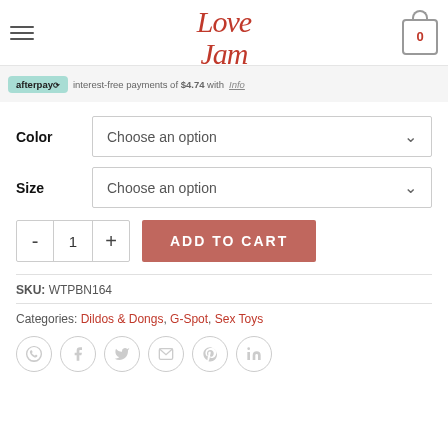Love Jam USA — navigation header with cart (0)
interest-free payments of $4.74 with afterpay
Color  Choose an option
Size  Choose an option
- 1 + ADD TO CART
SKU: WTPBN164
Categories: Dildos & Dongs, G-Spot, Sex Toys
Social share icons: WhatsApp, Facebook, Twitter, Email, Pinterest, LinkedIn